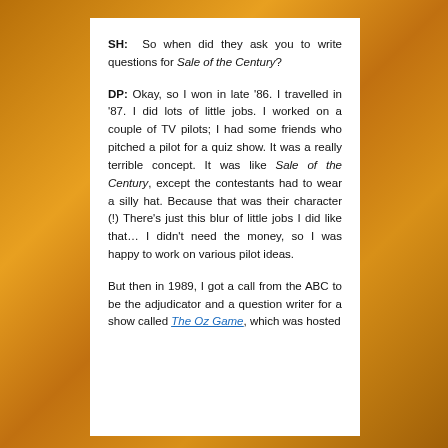SH: So when did they ask you to write questions for Sale of the Century?
DP: Okay, so I won in late '86. I travelled in '87. I did lots of little jobs. I worked on a couple of TV pilots; I had some friends who pitched a pilot for a quiz show. It was a really terrible concept. It was like Sale of the Century, except the contestants had to wear a silly hat. Because that was their character (!) There's just this blur of little jobs I did like that… I didn't need the money, so I was happy to work on various pilot ideas.
But then in 1989, I got a call from the ABC to be the adjudicator and a question writer for a show called The Oz Game, which was hosted